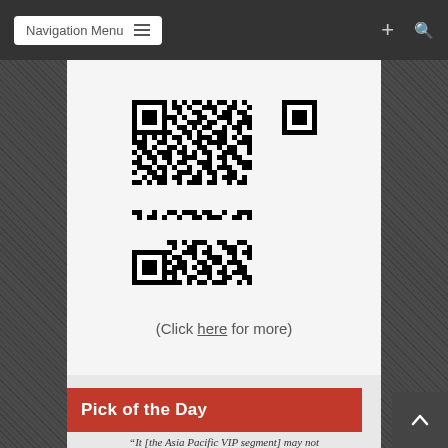Navigation Menu
[Figure (other): QR code image — black and white square QR code pattern]
(Click here for more)
Pick of the Day
“It [the Asia Pacific VIP segment] may not